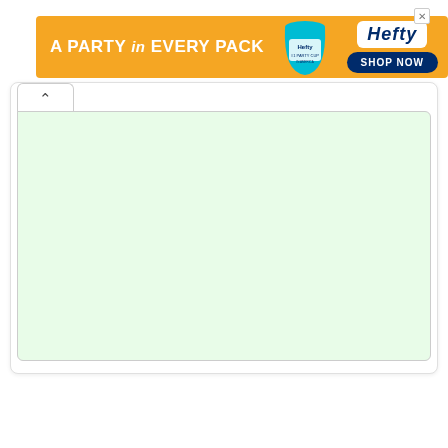[Figure (other): Hefty brand advertisement banner with orange background. Text reads 'A PARTY in EVERY PACK'. Shows a Hefty cup product image and Hefty logo with 'SHOP NOW' button.]
[Figure (screenshot): A web UI panel with a white tab/collapse button on the top-left showing an upward chevron (^), and a light green content area below it inside a rounded card container. The content area is empty/blank.]